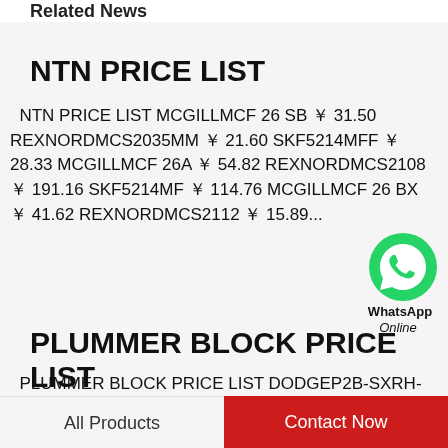Related News
NTN PRICE LIST
NTN PRICE LIST MCGILLMCF 26 SB ￥ 31.50 REXNORDMCS2035MM ￥ 21.60 SKF5214MFF ￥ 28.33 MCGILLMCF 26A ￥ 54.82 REXNORDMCS2108 ￥ 191.16 SKF5214MF ￥ 114.76 MCGILLMCF 26 BX ￥ 41.62 REXNORDMCS2112 ￥ 15.89...
[Figure (illustration): WhatsApp Online green chat icon with label WhatsApp Online]
PLUMMER BLOCK PRICE LIST
PLUMMER BLOCK PRICE LIST DODGEP2B-SXRH-207-E $92.35 DODGEF3B-SLX-107 $159.93 LINK BELTPB22439H $78.03 DODGEAN-GT-09-45M-CR $77.87 DODGEP2B-SCEZ-100-PCR $187.24 DODGENO. 904 TRAPEZOIDAL OIL RING $...
All Products | Contact Now